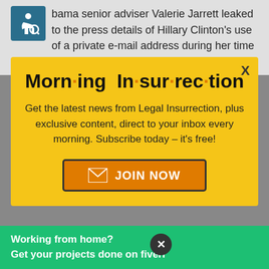…bama senior adviser Valerie Jarrett leaked to the press details of Hillary Clinton's use of a private e-mail address during her time as
[Figure (infographic): Morning Insurrection modal popup with yellow background. Title reads 'Morn·ing In·sur·rec·tion' with orange dots. Body text: 'Get the latest news from Legal Insurrection, plus exclusive content, direct to your inbox every morning. Subscribe today – it's free!' with a JOIN NOW button.]
bottom, including the use of her expense account, the disbursement of funds, back to top co… co…
[Figure (infographic): Fiverr advertisement banner: green background with white text 'Working from home? Get your projects done on fiverr']